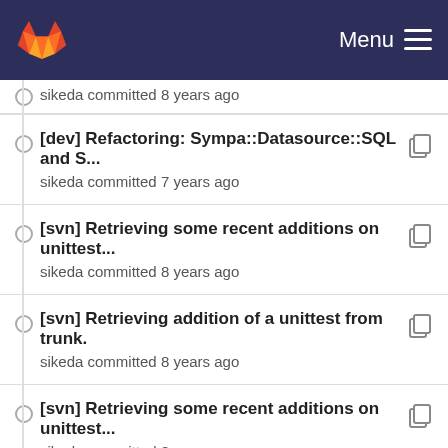GitLab Menu
sikeda committed 8 years ago
[dev] Refactoring: Sympa::Datasource::SQL and S... sikeda committed 7 years ago
[svn] Retrieving some recent additions on unittest... sikeda committed 8 years ago
[svn] Retrieving addition of a unittest from trunk. sikeda committed 8 years ago
[svn] Retrieving some recent additions on unittest... sikeda committed 8 years ago
[change] Sympa::Language, rewriting of Languag... sikeda committed 8 years ago
[-dev] Repair dist list in Makefile. sikeda committed 8 years ago
[-dev] author check scripts would belong to noinst... sikeda committed 7 years ago